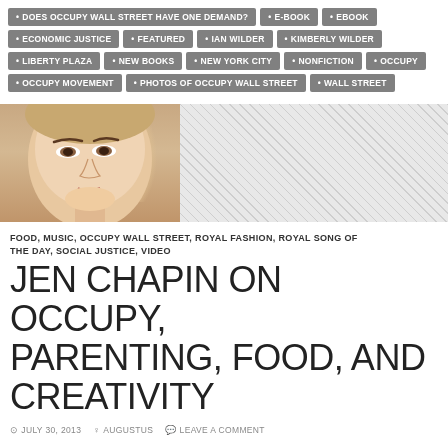DOES OCCUPY WALL STREET HAVE ONE DEMAND?
E-BOOK
EBOOK
ECONOMIC JUSTICE
FEATURED
IAN WILDER
KIMBERLY WILDER
LIBERTY PLAZA
NEW BOOKS
NEW YORK CITY
NONFICTION
OCCUPY
OCCUPY MOVEMENT
PHOTOS OF OCCUPY WALL STREET
WALL STREET
[Figure (photo): Close-up photo of a woman's face with a hatched gray pattern to the right]
FOOD, MUSIC, OCCUPY WALL STREET, ROYAL FASHION, ROYAL SONG OF THE DAY, SOCIAL JUSTICE, VIDEO
JEN CHAPIN ON OCCUPY, PARENTING, FOOD, AND CREATIVITY
JULY 30, 2013  AUGUSTUS  LEAVE A COMMENT